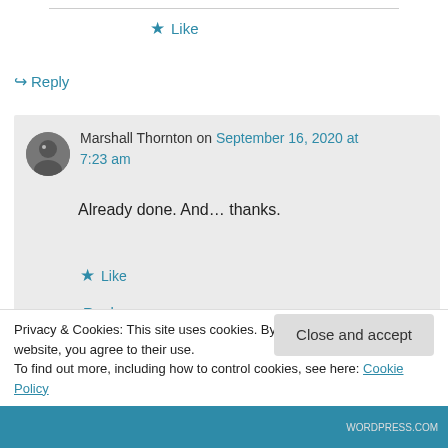★ Like
↪ Reply
Marshall Thornton on September 16, 2020 at 7:23 am
Already done. And… thanks.
★ Like
↪ Reply
Privacy & Cookies: This site uses cookies. By continuing to use this website, you agree to their use. To find out more, including how to control cookies, see here: Cookie Policy
Close and accept